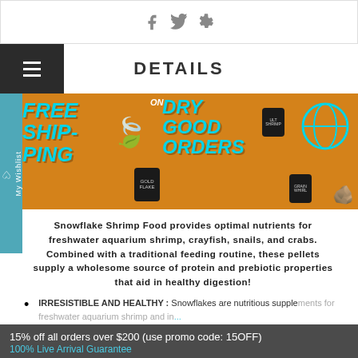[Figure (screenshot): Social media share icons (Facebook, Twitter, Pinterest) in a bordered box at the top of the page]
DETAILS
[Figure (infographic): Banner advertisement with orange background: FREE SHIPPING ON DRY GOOD ORDERS, with product containers of aquatic supplements, a decorative leaf, and globe icon in teal]
Snowflake Shrimp Food provides optimal nutrients for freshwater aquarium shrimp, crayfish, snails, and crabs. Combined with a traditional feeding routine, these pellets supply a wholesome source of protein and prebiotic properties that aid in healthy digestion!
IRRESISTIBLE AND HEALTHY : Snowflakes are nutritious supplements for freshwater aquarium shrimp and in...
15% off all orders over $200 (use promo code: 15OFF)
100% Live Arrival Guarantee